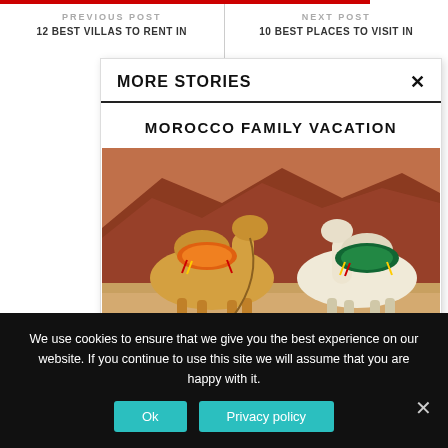PREVIOUS POST | 12 BEST VILLAS TO RENT IN... | NEXT POST | 10 BEST PLACES TO VISIT IN...
MORE STORIES
MOROCCO FAMILY VACATION
[Figure (photo): Two camels sitting in a red desert landscape with colorful saddle blankets — one orange/red and one green/teal]
We use cookies to ensure that we give you the best experience on our website. If you continue to use this site we will assume that you are happy with it.
Ok | Privacy policy